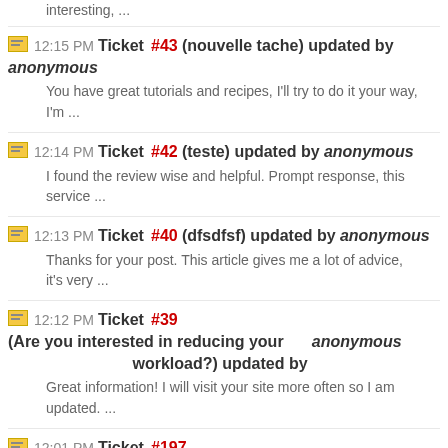interesting, ...
12:15 PM Ticket #43 (nouvelle tache) updated by anonymous
You have great tutorials and recipes, I'll try to do it your way, I'm ...
12:14 PM Ticket #42 (teste) updated by anonymous
I found the review wise and helpful. Prompt response, this service ...
12:13 PM Ticket #40 (dfsdfsf) updated by anonymous
Thanks for your post. This article gives me a lot of advice, it's very ...
12:12 PM Ticket #39 (Are you interested in reducing your workload?) updated by anonymous
Great information! I will visit your site more often so I am updated. ...
12:01 PM Ticket #197 (Проверка кнопок программы. Проверка кнопки «Back») updated by anonymous
Look at our most recent items at Real Jackets. The genuine cowhide ...